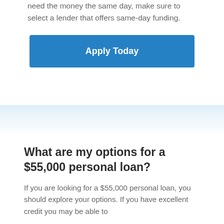need the money the same day, make sure to select a lender that offers same-day funding.
[Figure (other): Blue 'Apply Today' call-to-action button]
What are my options for a $55,000 personal loan?
If you are looking for a $55,000 personal loan, you should explore your options. If you have excellent credit you may be able to